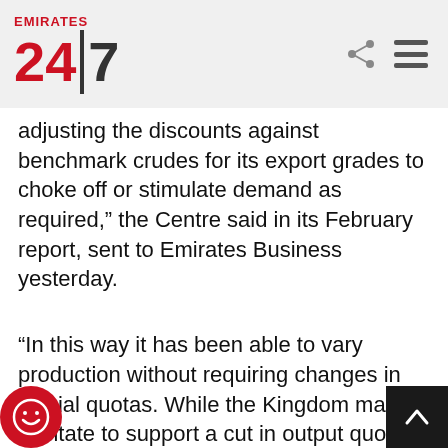Emirates 24|7
adjusting the discounts against benchmark crudes for its export grades to choke off or stimulate demand as required,” the Centre said in its February report, sent to Emirates Business yesterday.
“In this way it has been able to vary production without requiring changes in official quotas. While the Kingdom may hesitate to support a cut in output quotas in March, it has already begun to tighten the discounts, suggesting it continue to act quietly to restrict stock